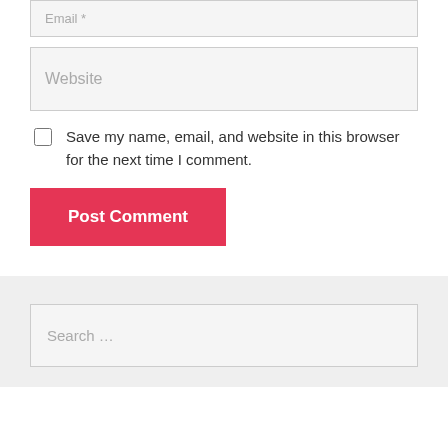Email *
Website
Save my name, email, and website in this browser for the next time I comment.
Post Comment
Search …